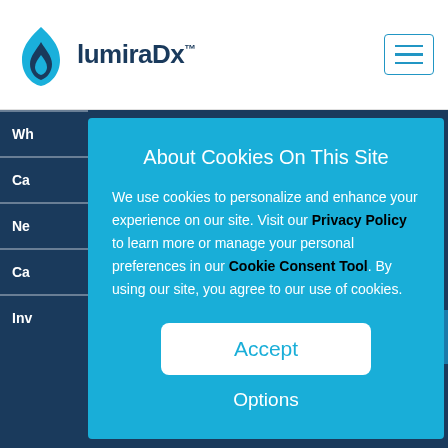[Figure (logo): LumiraDx logo with blue flame icon and company name]
About Cookies On This Site
We use cookies to personalize and enhance your experience on our site. Visit our Privacy Policy to learn more or manage your personal preferences in our Cookie Consent Tool. By using our site, you agree to our use of cookies.
Accept
Options
Contact Us